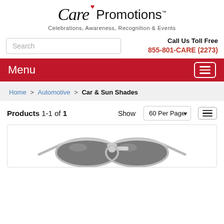[Figure (logo): Care Promotions logo with red heart, italic 'Care' text, 'Promotions' text, and tagline 'Celebrations, Awareness, Recognition & Events']
Search
Call Us Toll Free
855-801-CARE (2273)
Menu
Home > Automotive > Car & Sun Shades
Products 1-1 of 1   Show  60 Per Page
[Figure (photo): Product image showing silver aviator-style sunglasses with dark lenses against a white background]